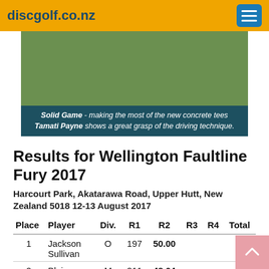discgolf.co.nz
[Figure (photo): Outdoor grass area with concrete tees at a disc golf course]
Solid Game - making the most of the new concrete tees Tamati Payne shows a great grasp of the driving technique.
Results for Wellington Faultline Fury 2017
Harcourt Park, Akatarawa Road, Upper Hutt, New Zealand 5018 12-13 August 2017
| Place | Player | Div. | R1 | R2 | R3 | R4 | Total |
| --- | --- | --- | --- | --- | --- | --- | --- |
| 1 | Jackson Sullivan | O | 197 | 50.00 |  |  |  |
| 2 | Blair Joines | M | 211 | 48.64 |  |  |  |